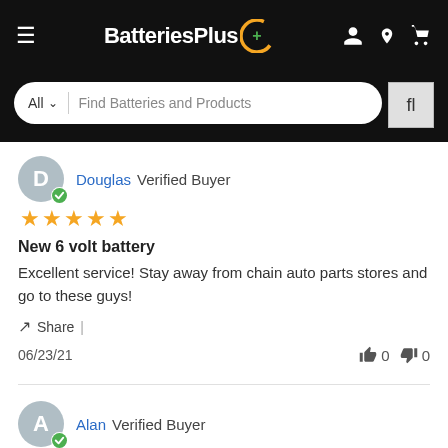[Figure (screenshot): BatteriesPlus website header with logo, hamburger menu, account/location/cart icons, and search bar reading 'All | Find Batteries and Products']
Douglas Verified Buyer
★★★★★
New 6 volt battery
Excellent service! Stay away from chain auto parts stores and go to these guys!
Share |
06/23/21    👍 0  👎 0
Alan Verified Buyer
★★★★★
I was in need of